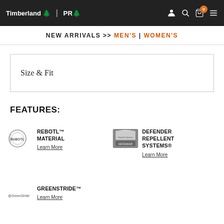Timberland PRO | [navigation icons] cart: 0
NEW ARRIVALS >> MEN'S | WOMEN'S
Size & Fit
FEATURES:
[Figure (logo): ReBOTL circular logo icon]
REBOTL™ MATERIAL
Learn More
[Figure (logo): DEFENDER Repellent Systems logo box]
DEFENDER REPELLENT SYSTEMS®
Learn More
[Figure (logo): GreenStride logo icon]
GREENSTRIDE™
Learn More